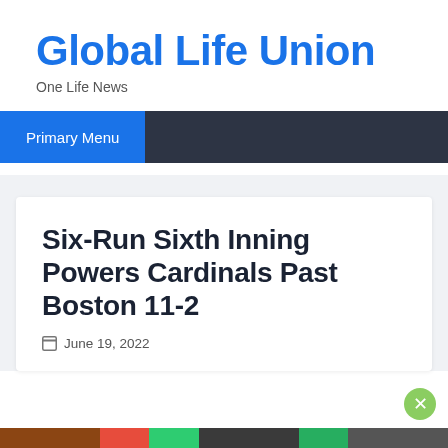Global Life Union
One Life News
Primary Menu
Six-Run Sixth Inning Powers Cardinals Past Boston 11-2
June 19, 2022